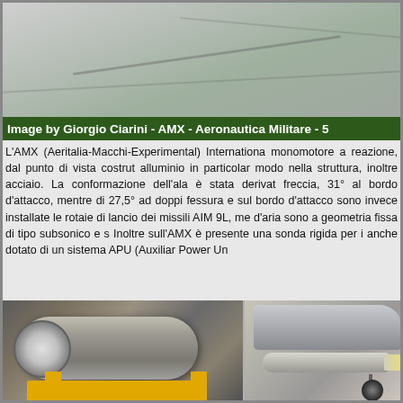[Figure (photo): Aerial/ground photo of AMX aircraft on tarmac/concrete surface, top portion cropped]
Image by Giorgio Ciarini - AMX - Aeronautica Militare - 5
L'AMX (Aeritalia-Macchi-Experimental) Internationa... monomotore a reazione, dal punto di vista costrut... alluminio in particolar modo nella struttura, inoltre acciaio. La conformazione dell'ala è stata derivat... freccia, 31° al bordo d'attacco, mentre di 27,5° ad doppi fessura e sul bordo d'attacco sono invece installate le rotaie di lancio dei missili AIM 9L, me... d'aria sono a geometria fissa di tipo subsonico e s... Inoltre sull'AMX è presente una sonda rigida per i... anche dotato di un sistema APU (Auxiliar Power Un...
[Figure (photo): Photo of AMX jet engine on yellow maintenance stand in hangar]
[Figure (photo): Photo of AMX aircraft underside showing weapons/missiles and landing gear]